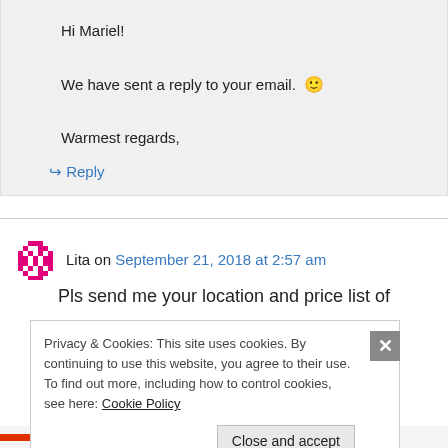Hi Mariel!

We have sent a reply to your email. 🙂

Warmest regards,
↪ Reply
Lita on September 21, 2018 at 2:57 am
Pls send me your location and price list of
Privacy & Cookies: This site uses cookies. By continuing to use this website, you agree to their use.
To find out more, including how to control cookies, see here: Cookie Policy
Close and accept